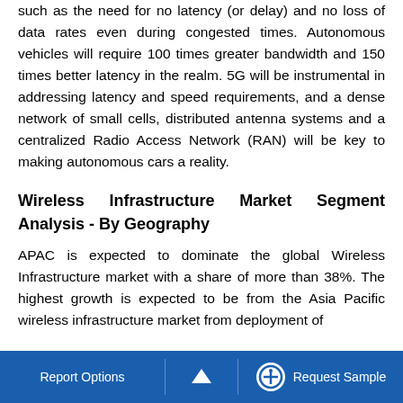such as the need for no latency (or delay) and no loss of data rates even during congested times. Autonomous vehicles will require 100 times greater bandwidth and 150 times better latency in the realm. 5G will be instrumental in addressing latency and speed requirements, and a dense network of small cells, distributed antenna systems and a centralized Radio Access Network (RAN) will be key to making autonomous cars a reality.
Wireless Infrastructure Market Segment Analysis - By Geography
APAC is expected to dominate the global Wireless Infrastructure market with a share of more than 38%. The highest growth is expected to be from the Asia Pacific wireless infrastructure market from deployment of
Report Options  ∧  Request Sample